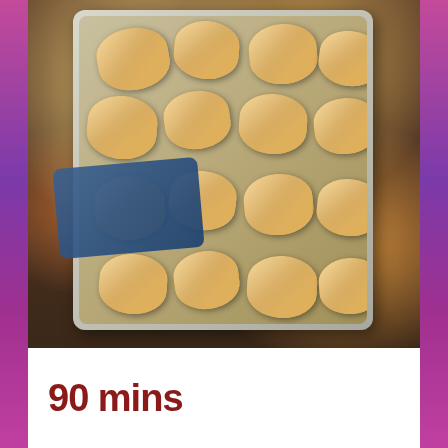[Figure (photo): Overhead view of hasselback potatoes with melted cheese and prosciutto on a silver baking tray, placed on a wooden surface with a blue cloth napkin]
90 mins